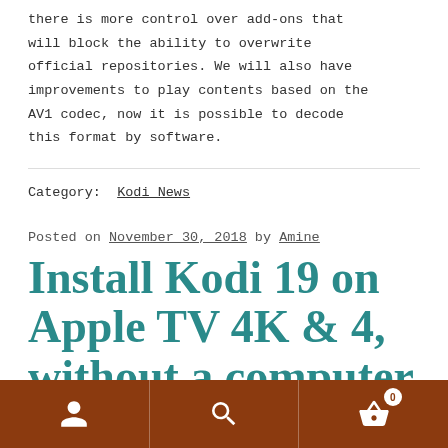there is more control over add-ons that will block the ability to overwrite official repositories. We will also have improvements to play contents based on the AV1 codec, now it is possible to decode this format by software.
Category: Kodi News
Posted on November 30, 2018 by Amine
Install Kodi 19 on Apple TV 4K & 4, without a computer